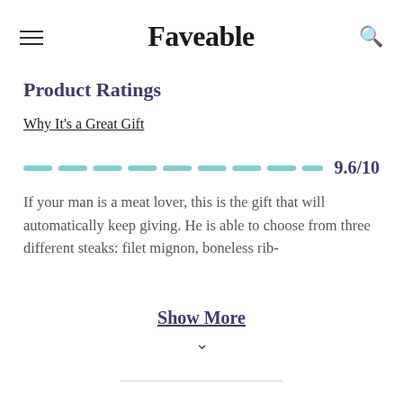Faveable
Product Ratings
Why It's a Great Gift
9.6/10
If your man is a meat lover, this is the gift that will automatically keep giving. He is able to choose from three different steaks: filet mignon, boneless rib-
Show More